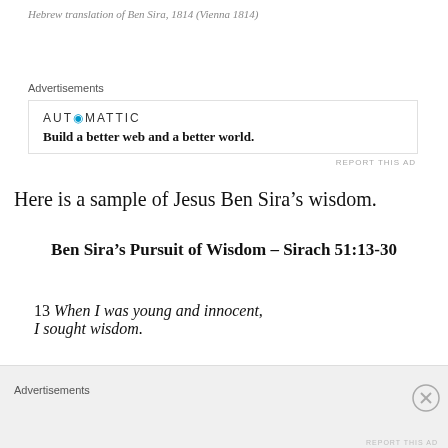Hebrew translation of Ben Sira, 1814 (Vienna 1814)
Advertisements
[Figure (other): Automattic advertisement: 'Build a better web and a better world.']
Here is a sample of Jesus Ben Sira's wisdom.
Ben Sira’s Pursuit of Wisdom – Sirach 51:13-30
13 When I was young and innocent, I sought wisdom.
Advertisements